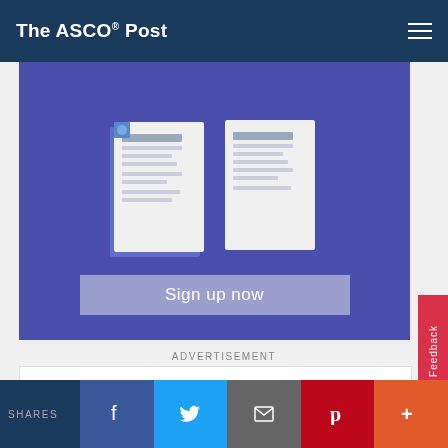The ASCO Post
[Figure (screenshot): Sign up now promotional banner with document images on purple/blue background]
ADVERTISEMENT
[Figure (logo): OncologyGO logo with teal circular play button icon, text reading 'The first oncology channel for your smart TV, streaming']
SHARES [Facebook] [Twitter] [Email] [Pinterest] [More]